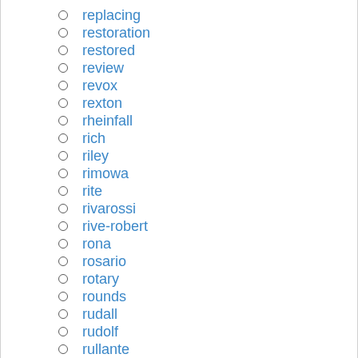replacing
restoration
restored
review
revox
rexton
rheinfall
rich
riley
rimowa
rite
rivarossi
rive-robert
rona
rosario
rotary
rounds
rudall
rudolf
rullante